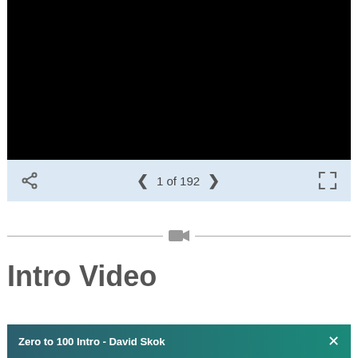[Figure (screenshot): Black video player frame showing a dark/blank video]
1 of 192
[Figure (other): Video section divider with camera icon]
Intro Video
Zero to 100 Intro - David Skok